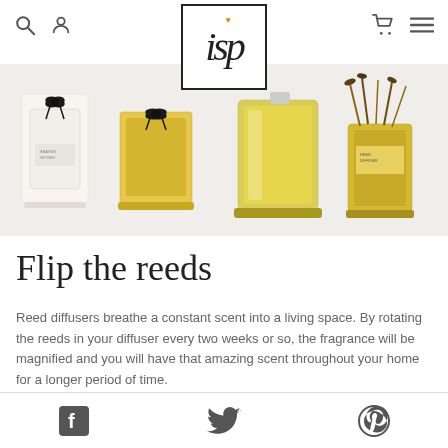Navigation bar with search, user, logo (isp), cart, and menu icons
[Figure (photo): Four reed diffuser / perfume products shown side by side: a white bottle with black bow, a yellow square bottle with black bow, a tall yellow glass vessel, and a reed diffuser bottle with sticks]
Flip the reeds
Reed diffusers breathe a constant scent into a living space. By rotating the reeds in your diffuser every two weeks or so, the fragrance will be magnified and you will have that amazing scent throughout your home for a longer period of time.
Facebook, Twitter, Pinterest social media icons